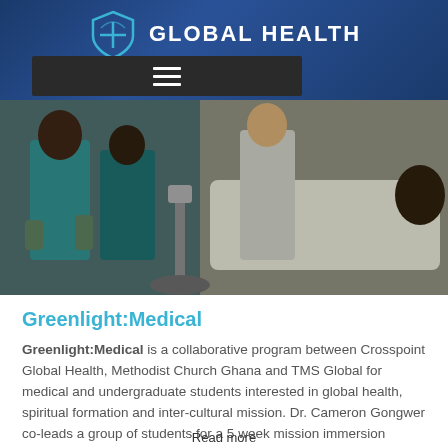GLOBAL HEALTH
[Figure (logo): Crosspoint Global Health logo with shield icon and text GLOBAL HEALTH on dark blue background with hamburger menu nav bar]
[Figure (photo): Medical professionals in scrubs and surgical gowns attending to a patient in what appears to be a clinical/surgical setting in Ghana]
Greenlight:Medical
Greenlight:Medical is a collaborative program between Crosspoint Global Health, Methodist Church Ghana and TMS Global for medical and undergraduate students interested in global health, spiritual formation and inter-cultural mission. Dr. Cameron Gongwer co-leads a group of students for a 5 week mission immersion experience in Ghana, Africa
Read more